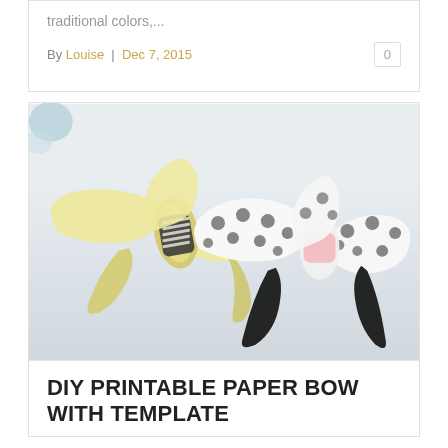traditional colors,...
By Louise | Dec 7, 2015   0
[Figure (photo): Two decorative paper bows on a light surface. One is yellow/cream colored with black striped center band, the other is white with black polka dots and a pink center band with black tails.]
DIY PRINTABLE PAPER BOW WITH TEMPLATE